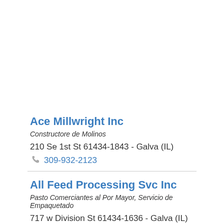Ace Millwright Inc
Constructore de Molinos
210 Se 1st St 61434-1843 - Galva (IL)
309-932-2123
All Feed Processing Svc Inc
Pasto Comerciantes al Por Mayor, Servicio de Empaquetado
717 w Division St 61434-1636 - Galva (IL)